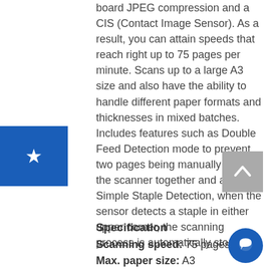board JPEG compression and a CIS (Contact Image Sensor). As a result, you can attain speeds that reach right up to 75 pages per minute. Scans up to a large A3 size and also have the ability to handle different paper formats and thicknesses in mixed batches. Includes features such as Double Feed Detection mode to prevent two pages being manually fed into the scanner together and also Simple Staple Detection, when the sensor detects a staple in either upper corner, the scanning process is automatically stopped.
Specification
Scanning speed: 75 pages per [minute]
Max. paper size: A3